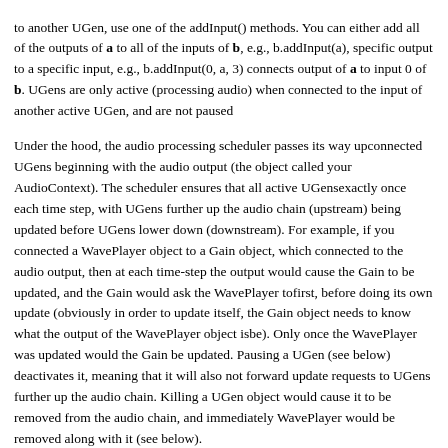to another UGen, use one of the addInput() methods. You can either add all of the outputs of a to all of the inputs of b, e.g., b.addInput(a), or a specific output to a specific input, e.g., b.addInput(0, a, 3) connects output of a to input 0 of b. UGens are only active (processing audio) when connected to the input of another active UGen, and are not paused.
Under the hood, the audio processing scheduler passes its way up connected UGens beginning with the audio output (the object called your AudioContext). The scheduler ensures that all active UGens are updated exactly once each time step, with UGens further up the audio chain (upstream) being updated before UGens lower down (downstream). For example, if you connected a WavePlayer object to a Gain object, which connected to the audio output, then at each time-step the output would cause the Gain to be updated, and the Gain would ask the WavePlayer to update first, before doing its own update (obviously in order to update itself, the Gain object needs to know what the output of the WavePlayer object is going to be). Only once the WavePlayer was updated would the Gain be updated. Pausing a UGen (see below) deactivates it, meaning that it will also not forward update requests to UGens further up the audio chain. Killing a UGen object would cause it to be removed from the audio chain, and immediately WavePlayer would be removed along with it (see below).
There are some UGens that don't actually have any outputs, but still need to be connected to an audio chain. For example, Beads has an audio UGen which sends messages to listeners at each tick, but doesn't actually